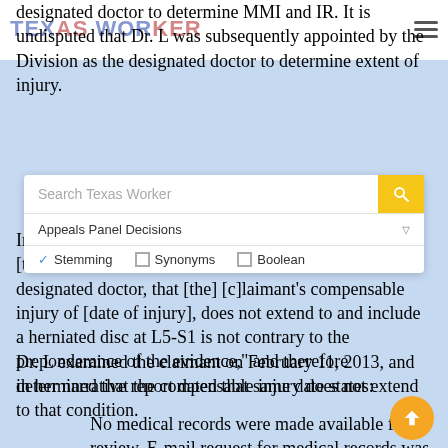TEXAS WORKER
designated doctor to determine MMI and IR. It is undisputed that Dr. L was subsequently appointed by the Division as the designated doctor to determine extent of injury.
[Figure (screenshot): Search widget overlay with search box labeled 'Search Texas Worker', a yellow search button, a filter row labeled 'Appeals Panel Decisions' with filter icon, checkboxes for Stemming (checked) and Synonyms (unchecked), and Boolean (unchecked)]
In Finding of Fact No. 6 the hearing officer found that "[t]he determination of [Dr. L], the Division-selected designated doctor, that [the] [c]laimant's compensable injury of [date of injury], does not extend to and include a herniated disc at L5-S1 is not contrary to the preponderance of the evidence," and therefore determined that the compensable injury does not extend to that condition.
Dr. L examined the claimant on February 11, 2013, and in her narrative report dated that same date states:
No medical records were made available for review. E-mail request for medical records was